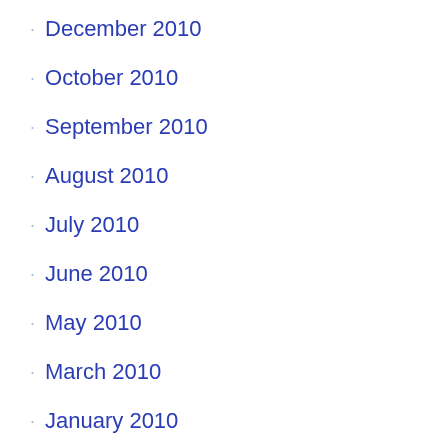December 2010
October 2010
September 2010
August 2010
July 2010
June 2010
May 2010
March 2010
January 2010
December 2009
October 2009